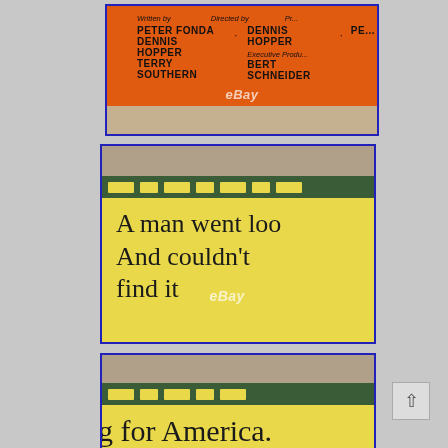[Figure (photo): Close-up of orange movie poster credits showing: Written by Peter Fonda, Dennis Hopper, Terry Southern. Directed by Dennis Hopper. Executive Producer Bert Schneider. With eBay watermark. White border at bottom.]
[Figure (photo): Close-up of yellow movie poster with green/yellow decorative strip at top, showing text: 'A man went loo[king for America.] And couldn't find it.' with eBay watermark.]
[Figure (photo): Close-up of yellow movie poster showing text 'g for America.' with illustrated portrait/hair graphic at bottom. Green/yellow decorative strip at top.]